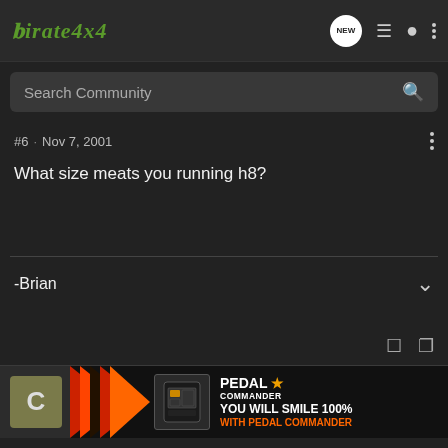Pirate4x4
Search Community
#6 · Nov 7, 2001
What size meats you running h8?
-Brian
[Figure (screenshot): Advertisement for Pedal Commander with arrow logo and text 'YOU WILL SMILE 100% WITH PEDAL COMMANDER']